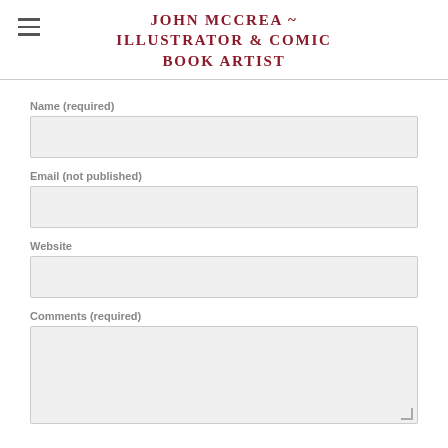JOHN MCCREA ~ ILLUSTRATOR & COMIC BOOK ARTIST
Name (required)
Email (not published)
Website
Comments (required)